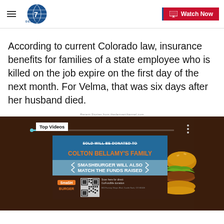Denver 7 — Watch Now
According to current Colorado law, insurance benefits for families of a state employee who is killed on the job expire on the first day of the next month. For Velma, that was six days after her husband died.
Recent Stories from thedenverchannel.com
[Figure (screenshot): Video player thumbnail showing a Smashburger fundraiser promo for Colton Bellamy's family, with Top Videos badge and three-dots menu. Text on promo: 'SOLD WILL BE DONATED TO COLTON BELLAMY'S FAMILY', 'SMASHBURGER WILL ALSO MATCH THE FUNDS RAISED', with SmashBurger QR code and burger image.]